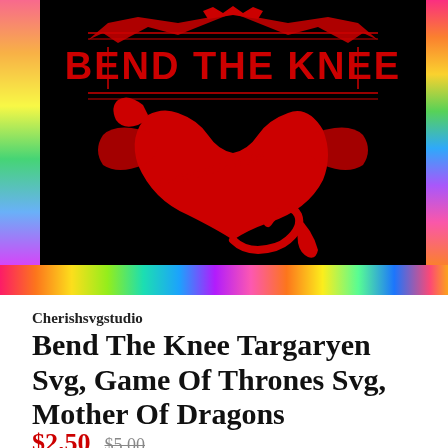[Figure (illustration): Product listing image showing a black background with a red dragon sigil and 'BEND THE KNEE' text in red, Targaryen style design. Rainbow/colorful paper strip visible at the bottom and right side of the image area.]
Cherishsvgstudio
Bend The Knee Targaryen Svg, Game Of Thrones Svg, Mother Of Dragons
$2.50  $5.00